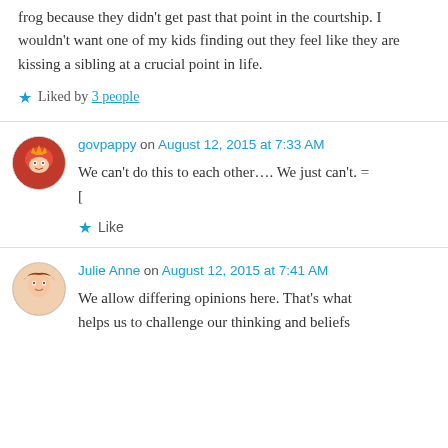frog because they didn't get past that point in the courtship. I wouldn't want one of my kids finding out they feel like they are kissing a sibling at a crucial point in life.
Liked by 3 people
govpappy on August 12, 2015 at 7:33 AM
We can't do this to each other.... We just can't. =[
Like
Julie Anne on August 12, 2015 at 7:41 AM
We allow differing opinions here. That's what helps us to challenge our thinking and beliefs